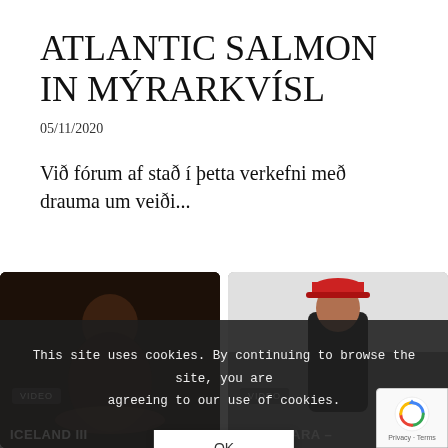ATLANTIC SALMON IN MÝRARKVÍSL
05/11/2020
Við fórum af stað í þetta verkefni með drauma um veiði...
[Figure (photo): Dark photo of a person holding a large fish, with VIDEO badge and caption 'ICELAND III']
[Figure (photo): Photo of a person with red cap outdoors, with VIDEO badge and caption 'THE HITARA –']
This site uses cookies. By continuing to browse the site, you are agreeing to our use of cookies.
OK